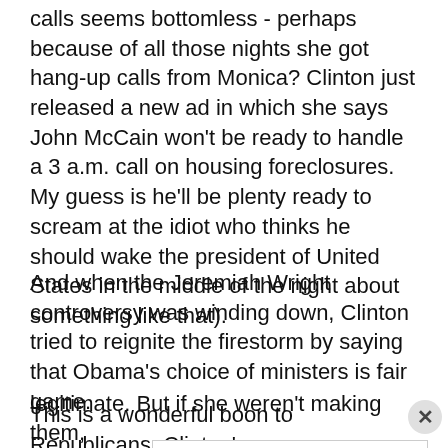calls seems bottomless - perhaps because of all those nights she got hang-up calls from Monica? Clinton just released a new ad in which she says John McCain won't be ready to handle a 3 a.m. call on housing foreclosures. My guess is he'll be plenty ready to scream at the idiot who thinks he should wake the president of United States in the middle of the night about something like that).
And when the Jeremiah Wright controversy was winding down, Clinton tried to reignite the firestorm by saying that Obama's choice of ministers is fair game.
This is a wonderful boon to Republicans. Clinton's
[Figure (other): Advertisement banner for Virginia Tire & Auto of Ashburn featuring Goodyear Tires logo, Save Big on Goodyear Tires text, and a blue navigation arrow icon. Includes navigation arrows and close button.]
legitimate. But if she weren't making them,